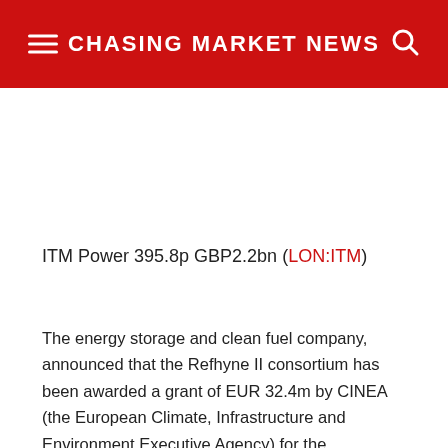CHASING MARKET NEWS
ITM Power 395.8p GBP2.2bn (LON:ITM)
The energy storage and clean fuel company, announced that the Refhyne II consortium has been awarded a grant of EUR 32.4m by CINEA (the European Climate, Infrastructure and Environment Executive Agency) for the development of a 100 MW electrolyser to be sited at Shell's Energy and Chemicals Park, Rheinland. The Refhyne II consortium comprises Shell